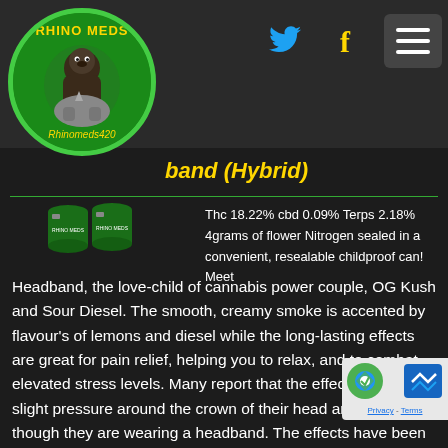[Figure (logo): Rhino Meds circular green logo with cartoon rhino/gorilla character and text 'RHINO MEDS' and 'Rhinomeds420']
band (Hybrid)
Thc 18.22% cbd 0.09% Terps 2.18% 4grams of flower Nitrogen sealed in a convenient, resealable childproof can! Meet Headband, the love-child of cannabis power couple, OG Kush and Sour Diesel. The smooth, creamy smoke is accented by flavour's of lemons and diesel while the long-lasting effects are great for pain relief, helping you to relax, and to combat elevated stress levels. Many report that the effects create a slight pressure around the crown of their head and feels as though they are wearing a headband. The effects have been known to come on slow, so pace yourself with this potent hybrid.